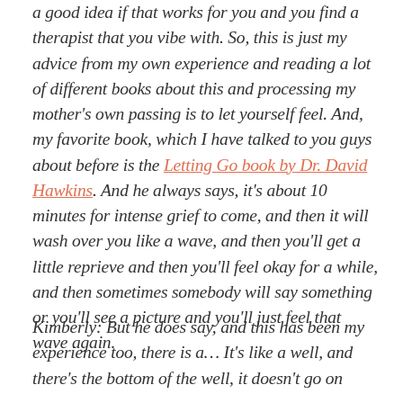a good idea if that works for you and you find a therapist that you vibe with. So, this is just my advice from my own experience and reading a lot of different books about this and processing my mother's own passing is to let yourself feel. And, my favorite book, which I have talked to you guys about before is the Letting Go book by Dr. David Hawkins. And he always says, it's about 10 minutes for intense grief to come, and then it will wash over you like a wave, and then you'll get a little reprieve and then you'll feel okay for a while, and then sometimes somebody will say something or you'll see a picture and you'll just feel that wave again.
Kimberly: But he does say, and this has been my experience too, there is a... It's like a well, and there's the bottom of the well, it doesn't go on